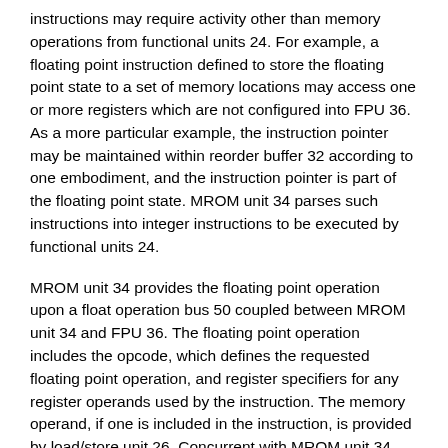instructions may require activity other than memory operations from functional units 24. For example, a floating point instruction defined to store the floating point state to a set of memory locations may access one or more registers which are not configured into FPU 36. As a more particular example, the instruction pointer may be maintained within reorder buffer 32 according to one embodiment, and the instruction pointer is part of the floating point state. MROM unit 34 parses such instructions into integer instructions to be executed by functional units 24.
MROM unit 34 provides the floating point operation upon a float operation bus 50 coupled between MROM unit 34 and FPU 36. The floating point operation includes the opcode, which defines the requested floating point operation, and register specifiers for any register operands used by the instruction. The memory operand, if one is included in the instruction, is provided by load/store unit 26. Concurrent with MROM unit 34 providing the floating point operation, MROM unit 34 provides the memory operation instructions between early decode units 40 and opcode decode units 44, as shown in FIG. 2. Reorder buffer 32 provides the